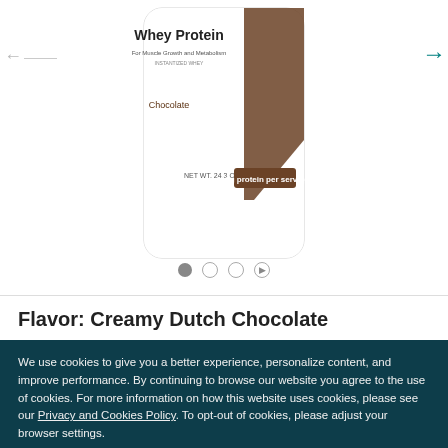[Figure (photo): Whey Protein Chocolate flavored container (partially visible, cropped at top), white container with brown diagonal stripe and label showing 'Whey Protein', 'Chocolate', 'NET WT. 24.3 OZ (690g)', '18g protein per serving']
← (left navigation arrow)
→ (right navigation arrow)
• ○ ○ ▶ (carousel dots and play button)
Flavor: Creamy Dutch Chocolate
We use cookies to give you a better experience, personalize content, and improve performance. By continuing to browse our website you agree to the use of cookies. For more information on how this website uses cookies, please see our Privacy and Cookies Policy. To opt-out of cookies, please adjust your browser settings.
OK